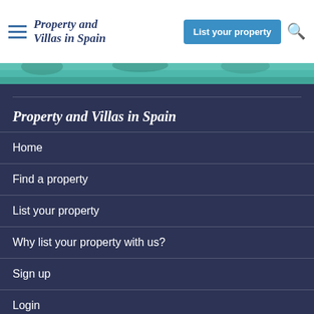Property and Villas in Spain
[Figure (screenshot): Hero image strip showing a pool/villa scene in teal/green tones]
Property and Villas in Spain
Home
Find a property
List your property
Why list your property with us?
Sign up
Login
Contact us
Privacy policy